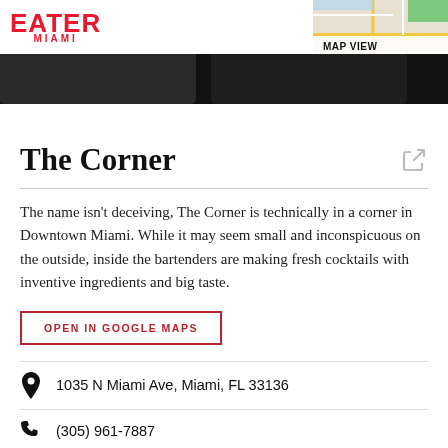EATER MIAMI
[Figure (map): Partial Google Maps thumbnail in top-right corner with MAP VIEW label]
[Figure (photo): Dark image strip showing partial venue photos cropped at top]
The Corner
The name isn't deceiving, The Corner is technically in a corner in Downtown Miami. While it may seem small and inconspicuous on the outside, inside the bartenders are making fresh cocktails with inventive ingredients and big taste.
OPEN IN GOOGLE MAPS
1035 N Miami Ave, Miami, FL 33136
(305) 961-7887
Visit Website